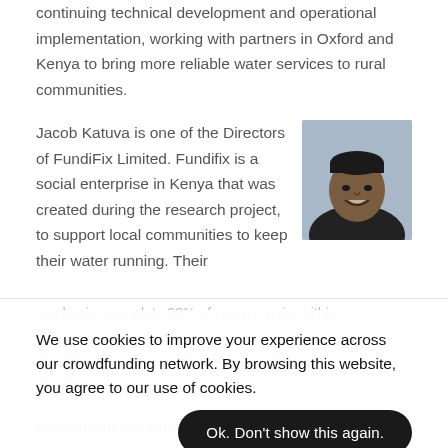continuing technical development and operational implementation, working with partners in Oxford and Kenya to bring more reliable water services to rural communities.
Jacob Katuva is one of the Directors of FundiFix Limited. Fundifix is a social enterprise in Kenya that was created during the research project, to support local communities to keep their water running. Their
[Figure (photo): Portrait photo of Jacob Katuva, a man smiling, wearing a dark top, with a light blue/grey background.]
mechanics complete 98% of pump repairs within
We use cookies to improve your experience across our crowdfunding network. By browsing this website, you agree to our use of cookies.
Ok. Don't show this again.
20,000 across camp units in Kwale and Kwae Counties.
OUR PARTNERS
A huge thank you to the Global Challenges Research